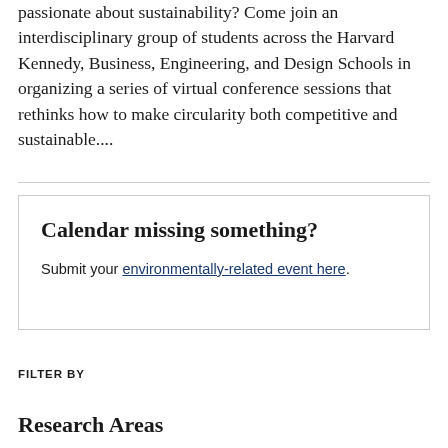passionate about sustainability? Come join an interdisciplinary group of students across the Harvard Kennedy, Business, Engineering, and Design Schools in organizing a series of virtual conference sessions that rethinks how to make circularity both competitive and sustainable....
Calendar missing something?
Submit your environmentally-related event here.
FILTER BY
Research Areas